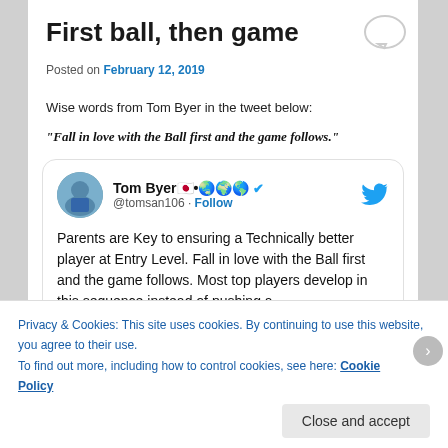First ball, then game
Posted on February 12, 2019
Wise words from Tom Byer in the tweet below:
“Fall in love with the Ball first and the game follows.”
[Figure (screenshot): Embedded tweet from Tom Byer (@tomsan106) with verified badge and Follow button. Tweet text: Parents are Key to ensuring a Technically better player at Entry Level. Fall in love with the Ball first and the game follows. Most top players develop in this sequence instead of pushing a]
Privacy & Cookies: This site uses cookies. By continuing to use this website, you agree to their use.
To find out more, including how to control cookies, see here: Cookie Policy
Close and accept